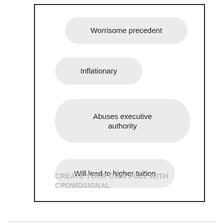Worrisome precedent
Inflationary
Abuses executive authority
Will lead to higher tuition
CREATE YOUR OWN POLL WITH CROWDSIGNAL